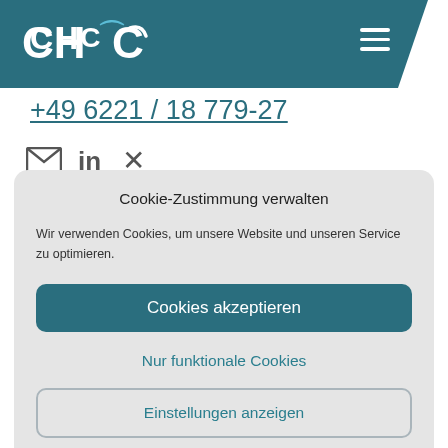[Figure (logo): CHC logo in white text on teal header background]
+49 6221 / 18 779-27
[Figure (illustration): Email, LinkedIn, and Xing social icons in grey]
Cookie-Zustimmung verwalten
Wir verwenden Cookies, um unsere Website und unseren Service zu optimieren.
Cookies akzeptieren
Nur funktionale Cookies
Einstellungen anzeigen
Imprint